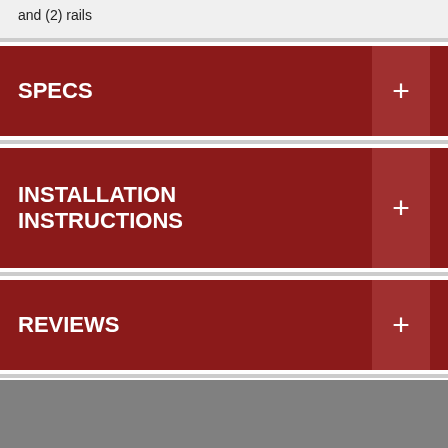and (2) rails
SPECS
INSTALLATION INSTRUCTIONS
REVIEWS
California Residents: WARNING: Cancer and Reproductive Harm www.P65Warnings.ca.gov